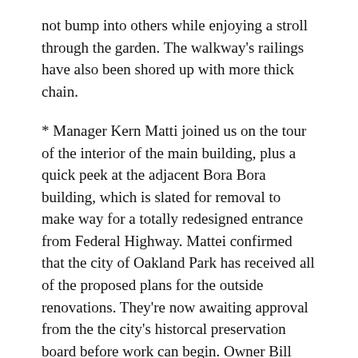not bump into others while enjoying a stroll through the garden. The walkway's railings have also been shored up with more thick chain.
* Manager Kern Matti joined us on the tour of the interior of the main building, plus a quick peek at the adjacent Bora Bora building, which is slated for removal to make way for a totally redesigned entrance from Federal Highway. Mattei confirmed that the city of Oakland Park has received all of the proposed plans for the outside renovations. They're now awaiting approval from the the city's historcal preservation board before work can begin. Owner Bill Fuller revealed previously that it's possible that the plans may not be approved, but there are contingency plans if that happens.
Stay tuned for more updates!